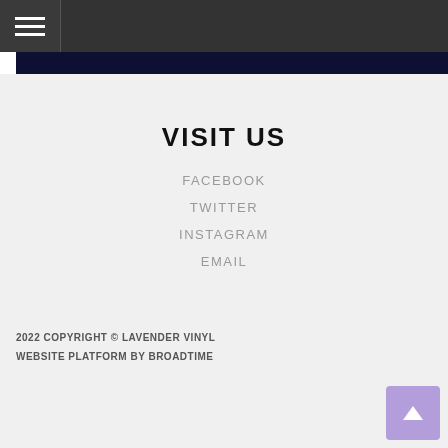[Figure (screenshot): Navigation bar with hamburger menu icon on dark background]
VISIT US
FACEBOOK
TWITTER
INSTAGRAM
EMAIL
2022 COPYRIGHT © LAVENDER VINYL
WEBSITE PLATFORM BY BROADTIME